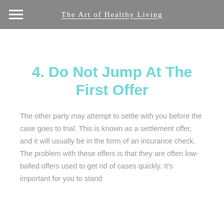The Art of Healthy Living
4. Do Not Jump At The First Offer
The other party may attempt to settle with you before the case goes to trial. This is known as a settlement offer, and it will usually be in the form of an insurance check. The problem with these offers is that they are often low-balled offers used to get rid of cases quickly. It's important for you to stand